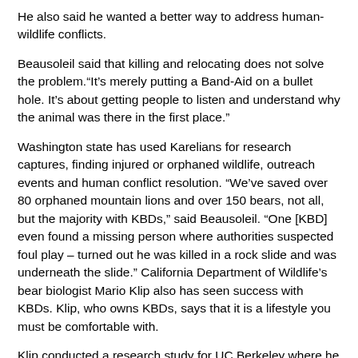He also said he wanted a better way to address human-wildlife conflicts.
Beausoleil said that killing and relocating does not solve the problem.“It’s merely putting a Band-Aid on a bullet hole. It’s about getting people to listen and understand why the animal was there in the first place.”
Washington state has used Karelians for research captures, finding injured or orphaned wildlife, outreach events and human conflict resolution. “We’ve saved over 80 orphaned mountain lions and over 150 bears, not all, but the majority with KBDs,” said Beausoleil. “One [KBD] even found a missing person where authorities suspected foul play – turned out he was killed in a rock slide and was underneath the slide.” California Department of Wildlife’s bear biologist Mario Klip also has seen success with KBDs. Klip, who owns KBDs, says that it is a lifestyle you must be comfortable with.
Klip conducted a research study for UC Berkeley where he